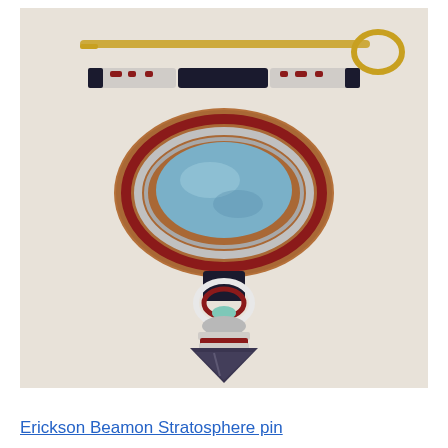[Figure (photo): A beaded jewelry pin by Erickson Beamon called 'Stratosphere pin'. The piece features a gold safety pin at the top, a black beaded bar, an oval leather backing with a blue stone surrounded by red and silver beading, a connector section with white and red beading, and a dark arrowhead-shaped stone at the bottom wrapped in red and white beads. Background is light beige/cream.]
Erickson Beamon Stratosphere pin